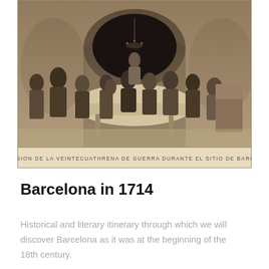[Figure (illustration): Sepia-toned historical engraving showing a group of men in 17th/18th century clothing gathered around a table in an arched stone room, with a chandelier above. Text at the bottom of the engraving reads: UNA SESION DE LA VEINTECUATHRENA DE GUERRA DURANTE EL SITIO DE BARCELONA]
Barcelona in 1714
Historical and literary itinerary through which we will discover Barcelona as it was at the beginning of the 18th century.